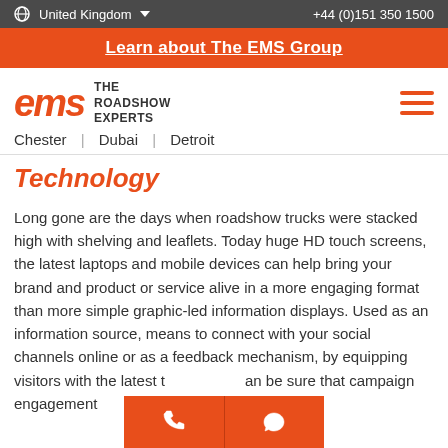United Kingdom ▼    +44 (0)151 350 1500
Learn about The EMS Group
[Figure (logo): EMS Roadshow Experts logo with orange stylized 'ems' text and 'THE ROADSHOW EXPERTS' tagline. Hamburger menu icon on right.]
Chester  |  Dubai  |  Detroit
Technology
Long gone are the days when roadshow trucks were stacked high with shelving and leaflets. Today huge HD touch screens, the latest laptops and mobile devices can help bring your brand and product or service alive in a more engaging format than more simple graphic-led information displays. Used as an information source, means to connect with your social channels online or as a feedback mechanism, by equipping visitors with the latest t[echnology] can be sure that campaign engagement [to the n]ext level.